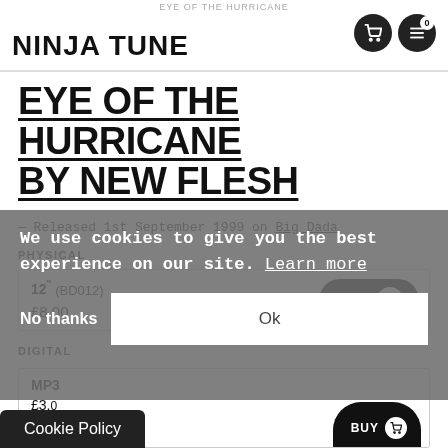EYE OF THE HURRICANE — NINJA TUNE
EYE OF THE HURRICANE BY NEW FLESH
— Released 1st September 1999 on Big Dada
PHYSICAL
12" (BD012) £8.00 BUY
We use cookies to give you the best experience on our site. Learn more
No thanks
Ok
Cookie Policy
DIGITAL
MP3 £3.00 BUY